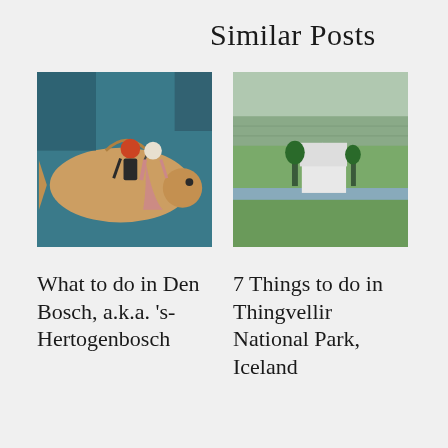Similar Posts
[Figure (photo): Painting of two figures riding a large fish, folk art style with teal background]
What to do in Den Bosch, a.k.a. 's-Hertogenbosch
[Figure (photo): Aerial landscape photo of Thingvellir National Park, Iceland, showing green fields, a white farmhouse, and hills in the background]
7 Things to do in Thingvellir National Park, Iceland